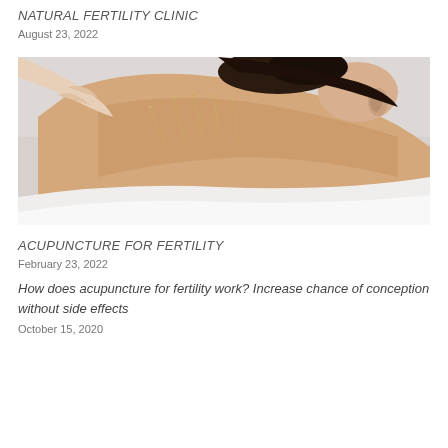NATURAL FERTILITY CLINIC
August 23, 2022
[Figure (photo): A woman lying face down receiving acupuncture treatment on her upper back/shoulders, with several needles inserted. A practitioner's hand is visible inserting a needle. The image has a light, clinical background.]
ACUPUNCTURE FOR FERTILITY
February 23, 2022
How does acupuncture for fertility work? Increase chance of conception without side effects
October 15, 2020